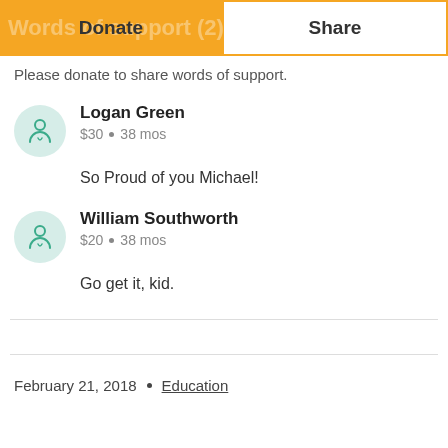Donate | Share
Please donate to share words of support.
Logan Green
$30 • 38 mos
So Proud of you Michael!
William Southworth
$20 • 38 mos
Go get it, kid.
February 21, 2018 • Education